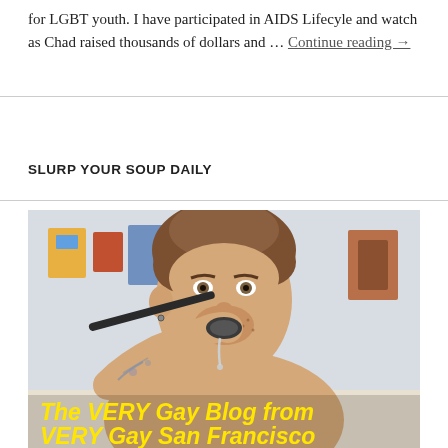for LGBT youth. I have participated in AIDS Lifecyle and watch as Chad raised thousands of dollars and … Continue reading →
SLURP YOUR SOUP DAILY
[Figure (photo): A shirtless tattooed man eating from a large spoon with liquid dripping, posing playfully in a kitchen setting. Overlaid text at the bottom reads 'The VERY Gay Blog from VERY Gay San Francisco' in bold yellow italic font.]